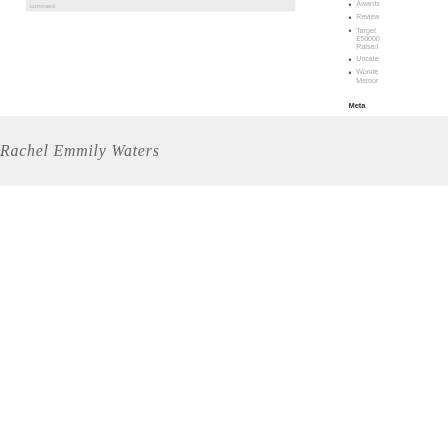comment
Awards
Review
Target £50000 Raised
Uncategorized
Wonderful Memory
Meta
Log in
Entries feed
Comments feed
WordPress
Rachel Emmily Waters